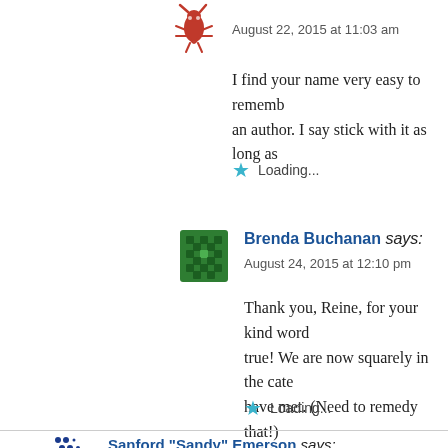[Figure (illustration): Lobster/crayfish avatar icon in red]
August 22, 2015 at 11:03 am
I find your name very easy to remember as an author. I say stick with it as long as
Loading...
[Figure (illustration): Green diamond pattern avatar for Brenda Buchanan]
Brenda Buchanan says:
August 24, 2015 at 12:10 pm
Thank you, Reine, for your kind words. true! We are now squarely in the cate have met. (Need to remedy that!)
Loading...
[Figure (illustration): Blue dot pattern avatar for Sanford Sandy Emerson]
Sanford "Sandy" Emerson says: